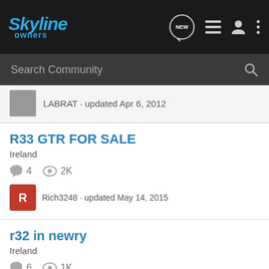Skyline owners — NEW — Search Community
LABRAT · updated Apr 6, 2012
R33 GTR FOR SALE
Ireland
4   2K
Rich3248 · updated May 14, 2015
r32 in newry
Ireland
6   1K
john.muldoon1 · updated Jul 28, 2011